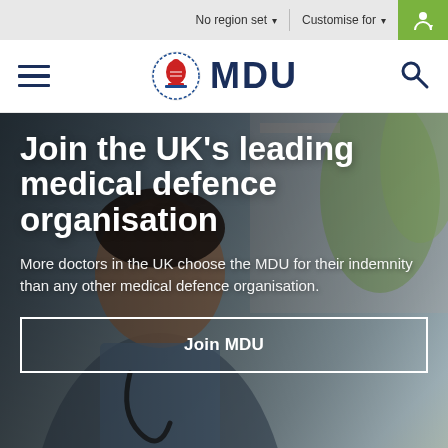No region set   Customise for
[Figure (logo): MDU (Medical Defence Union) logo with red crest icon and dark blue MDU text]
[Figure (photo): Male doctor smiling, wearing a stethoscope, with blurred background of plants and architecture]
Join the UK’s leading medical defence organisation
More doctors in the UK choose the MDU for their indemnity than any other medical defence organisation.
Join MDU